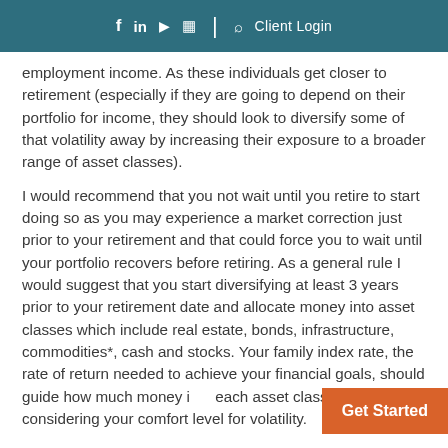f in ▶ 📷 | 🔍 Client Login
employment income. As these individuals get closer to retirement (especially if they are going to depend on their portfolio for income, they should look to diversify some of that volatility away by increasing their exposure to a broader range of asset classes).
I would recommend that you not wait until you retire to start doing so as you may experience a market correction just prior to your retirement and that could force you to wait until your portfolio recovers before retiring. As a general rule I would suggest that you start diversifying at least 3 years prior to your retirement date and allocate money into asset classes which include real estate, bonds, infrastructure, commodities*, cash and stocks. Your family index rate, the rate of return needed to achieve your financial goals, should guide how much money into each asset class while also considering your comfort level for volatility.